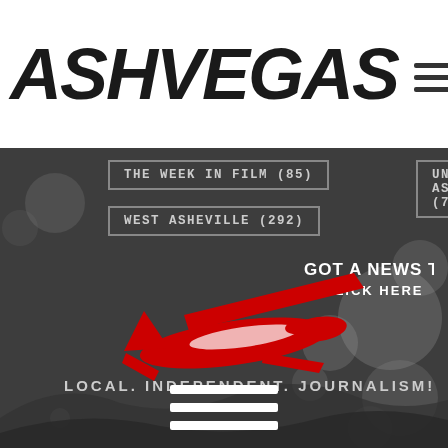ASHVEGAS
THE WEEK IN FILM (85)
UNC ASHEVILLE (70)
WEST ASHEVILLE (292)
[Figure (illustration): Red silhouette of a glider airplane with the text GOT A NEWS TIP? CLICK HERE above it, and LOCAL. INDEPENDENT. JOURNALISM! below it, on a dark grey background with decorative bokeh circles]
GOT A NEWS TIP? CLICK HERE
LOCAL. INDEPENDENT. JOURNALISM!